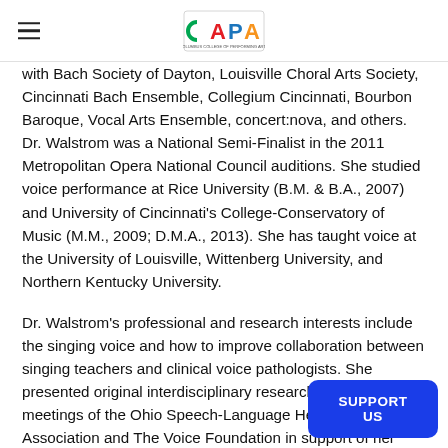CAPA
with Bach Society of Dayton, Louisville Choral Arts Society, Cincinnati Bach Ensemble, Collegium Cincinnati, Bourbon Baroque, Vocal Arts Ensemble, concert:nova, and others. Dr. Walstrom was a National Semi-Finalist in the 2011 Metropolitan Opera National Council auditions. She studied voice performance at Rice University (B.M. & B.A., 2007) and University of Cincinnati's College-Conservatory of Music (M.M., 2009; D.M.A., 2013). She has taught voice at the University of Louisville, Wittenberg University, and Northern Kentucky University.
Dr. Walstrom's professional and research interests include the singing voice and how to improve collaboration between singing teachers and clinical voice pathologists. She presented original interdisciplinary research at 2017 meetings of the Ohio Speech-Language Hearing Association and The Voice Foundation in support of her master's the... differences in how singing teachers and v...